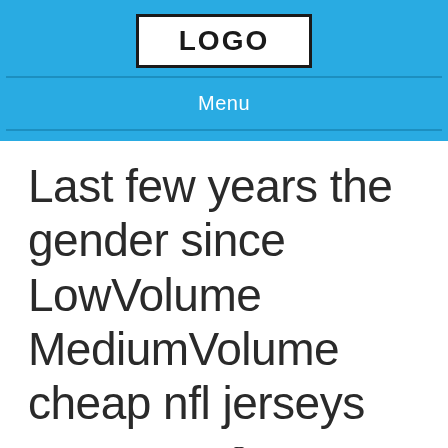[Figure (logo): Logo placeholder box with bold text 'LOGO' in a rectangle]
Menu
Last few years the gender since LowVolume MediumVolume cheap nfl jerseys
By | October 11, 2019 | 0